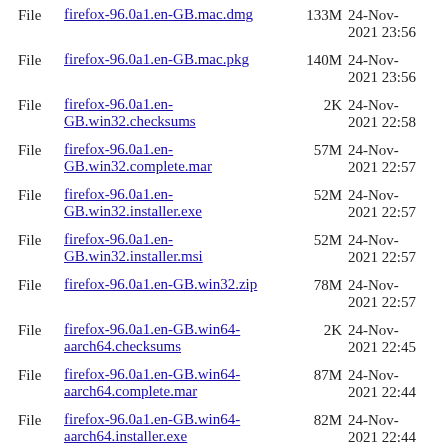File firefox-96.0a1.en-GB.mac.dmg 133M 24-Nov-2021 23:56
File firefox-96.0a1.en-GB.mac.pkg 140M 24-Nov-2021 23:56
File firefox-96.0a1.en-GB.win32.checksums 2K 24-Nov-2021 22:58
File firefox-96.0a1.en-GB.win32.complete.mar 57M 24-Nov-2021 22:57
File firefox-96.0a1.en-GB.win32.installer.exe 52M 24-Nov-2021 22:57
File firefox-96.0a1.en-GB.win32.installer.msi 52M 24-Nov-2021 22:57
File firefox-96.0a1.en-GB.win32.zip 78M 24-Nov-2021 22:57
File firefox-96.0a1.en-GB.win64-aarch64.checksums 2K 24-Nov-2021 22:45
File firefox-96.0a1.en-GB.win64-aarch64.complete.mar 87M 24-Nov-2021 22:44
File firefox-96.0a1.en-GB.win64-aarch64.installer.exe 82M 24-Nov-2021 22:44
File firefox-96.0a1.en-GB.win64-aarch64.zip 122M 24-Nov-2021 22:44